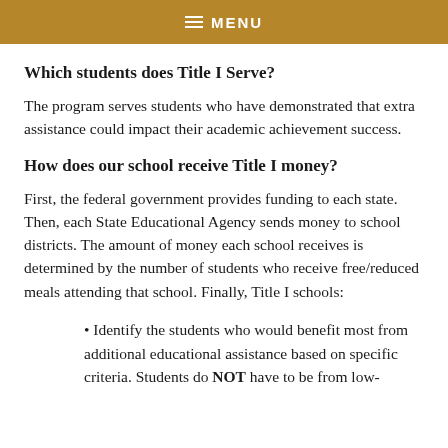MENU
Which students does Title I Serve?
The program serves students who have demonstrated that extra assistance could impact their academic achievement success.
How does our school receive Title I money?
First, the federal government provides funding to each state. Then, each State Educational Agency sends money to school districts. The amount of money each school receives is determined by the number of students who receive free/reduced meals attending that school. Finally, Title I schools:
Identify the students who would benefit most from additional educational assistance based on specific criteria. Students do NOT have to be from low-